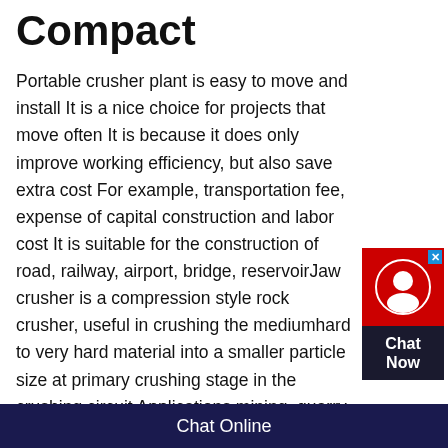Compact
Portable crusher plant is easy to move and install It is a nice choice for projects that move often It is because it does only improve working efficiency, but also save extra cost For example, transportation fee, expense of capital construction and labor cost It is suitable for the construction of road, railway, airport, bridge, reservoirJaw crusher is a compression style rock crusher, useful in crushing the mediumhard to very hard material into a smaller particle size at primary crushing stage in the crushing circuit Applications mining, quarry, construction waste recycling, aggregate making, etc Materials Limestone, cobblestone, cobblestone, quartz, basalt, iron ore, granite, shale, sandstone, gypsum, and a variety of
[Figure (other): Chat widget with red icon box showing a chat agent silhouette and a dark box with 'Chat Now' text]
Chat Online